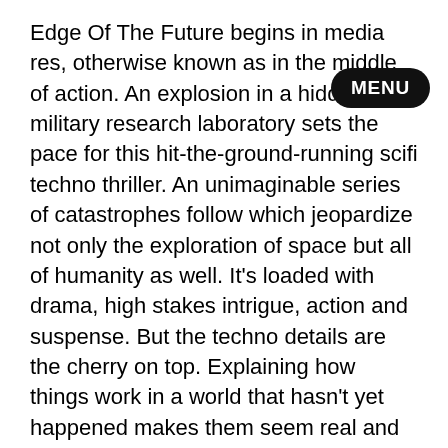Edge Of The Future begins in media res, otherwise known as in the middle of action. An explosion in a hidden military research laboratory sets the pace for this hit-the-ground-running scifi techno thriller. An unimaginable series of catastrophes follow which jeopardize not only the exploration of space but all of humanity as well. It's loaded with drama, high stakes intrigue, action and suspense. But the techno details are the cherry on top. Explaining how things work in a world that hasn't yet happened makes them seem real and lends authenticity to the narrative.
This story's flawed Protagonist is Mark Warren, a gifted military scientist, but a womanizer who also embraces drinking and gambling. He secretly carries guilt about someone's death and there's a violent incident in his past. His supporting cast of characters are fellow scientists and military, of different genders, races, and specialties. Although they are infinitely